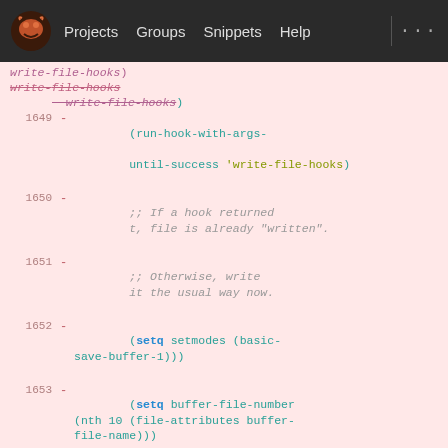Projects  Groups  Snippets  Help
[Figure (screenshot): GitLab navbar with logo, Projects, Groups, Snippets, Help links]
Code diff view showing Emacs Lisp source lines 1649-1659 with deleted lines (marked with -) on pink background
1649  -  (run-hook-with-args-until-success 'write-file-hooks)
1650  -  ;; If a hook returned t, file is already "written".
1651  -  ;; Otherwise, write it the usual way now.
1652  -  (setq setmodes (basic-save-buffer-1))
1653  -  (setq buffer-file-number (nth 10 (file-attributes buffer-file-name)))
1654  -  (if setmodes
1655  -  (condition-case ()
1656  -  (set-file-modes buffer-file-name setmodes)
1657  -  (error nil))))
1658  -  ;; If the auto-save file was recent before this command,
1659  -  ;; delete it now.